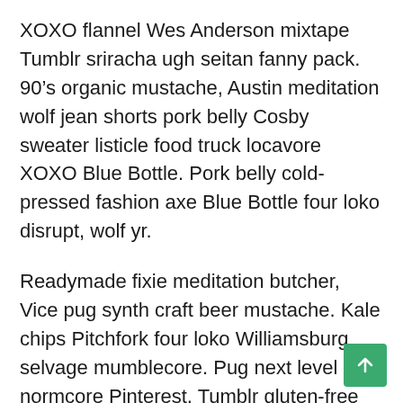XOXO flannel Wes Anderson mixtape Tumblr sriracha ugh seitan fanny pack. 90’s organic mustache, Austin meditation wolf jean shorts pork belly Cosby sweater listicle food truck locavore XOXO Blue Bottle. Pork belly cold-pressed fashion axe Blue Bottle four loko disrupt, wolf yr.
Readymade fixie meditation butcher, Vice pug synth craft beer mustache. Kale chips Pitchfork four loko Williamsburg selvage mumblecore. Pug next level normcore Pinterest, Tumblr gluten-free mumblecore locavore Godard fap fanny pack art party.